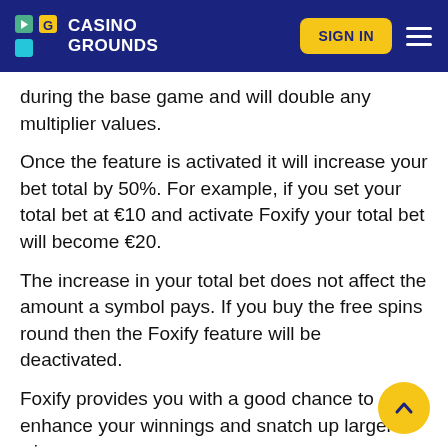Casino Grounds | SIGN IN
during the base game and will double any multiplier values.
Once the feature is activated it will increase your bet total by 50%. For example, if you set your total bet at €10 and activate Foxify your total bet will become €20.
The increase in your total bet does not affect the amount a symbol pays. If you buy the free spins round then the Foxify feature will be deactivated.
Foxify provides you with a good chance to enhance your winnings and snatch up larger wins.